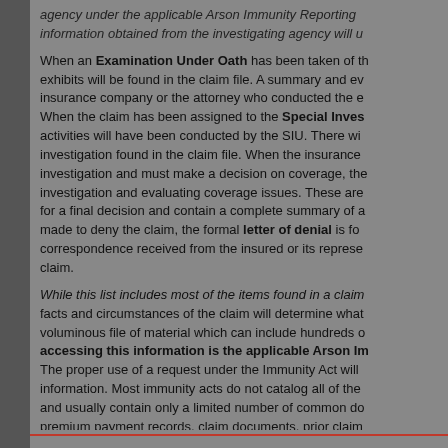agency under the applicable Arson Immunity Reporting information obtained from the investigating agency will u
When an Examination Under Oath has been taken of the exhibits will be found in the claim file. A summary and ev insurance company or the attorney who conducted the e When the claim has been assigned to the Special Inves activities will have been conducted by the SIU. There wi investigation found in the claim file. When the insurance investigation and must make a decision on coverage, the investigation and evaluating coverage issues. These are for a final decision and contain a complete summary of a made to deny the claim, the formal letter of denial is fou correspondence received from the insured or its represe claim.
While this list includes most of the items found in a claim facts and circumstances of the claim will determine what voluminous file of material which can include hundreds o accessing this information is the applicable Arson Im The proper use of a request under the Immunity Act will information. Most immunity acts do not catalog all of the and usually contain only a limited number of common do premium payment records, claim documents, prior claim most Immunity Acts are intended to allow access to almo investigator must be aware of the full range of materials relevant materials are obtained and reviewed.